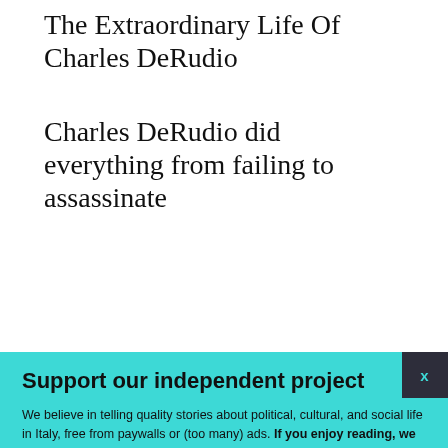The Extraordinary Life Of Charles DeRudio
Charles DeRudio did everything from failing to assassinate
Support our independent project
We believe in telling quality stories about political, cultural, and social life in Italy, free from paywalls or (too many) ads. If you enjoy reading, we hope you'll consider donating or subscribing to our Patreon community. Thank you.
BECOME A PATRON
DONATE
Follow us: Facebook Instagram Twitter